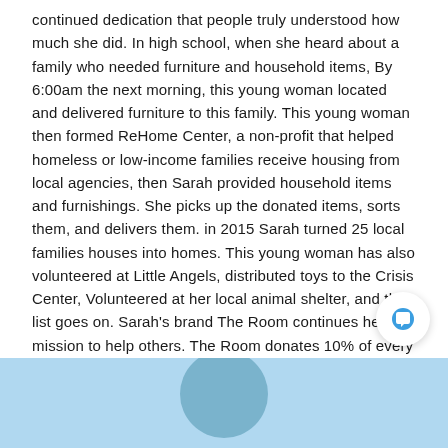continued dedication that people truly understood how much she did. In high school, when she heard about a family who needed furniture and household items, By 6:00am the next morning, this young woman located and delivered furniture to this family. This young woman then formed ReHome Center, a non-profit that helped homeless or low-income families receive housing from local agencies, then Sarah provided household items and furnishings. She picks up the donated items, sorts them, and delivers them. in 2015 Sarah turned 25 local families houses into homes. This young woman has also volunteered at Little Angels, distributed toys to the Crisis Center, Volunteered at her local animal shelter, and the list goes on. Sarah's brand The Room continues her mission to help others. The Room donates 10% of every sale to the Transgender Law Center, ACLU, Human Rights Campaign, Stop AAPI Hate, and more. The Room supports charities that fight against discrimination of Race, Gender, and Orientation.
[Figure (other): Chat bubble icon (white circle with blue speech bubble icon)]
[Figure (photo): Light blue background section with person's head/photo at the bottom of the page]